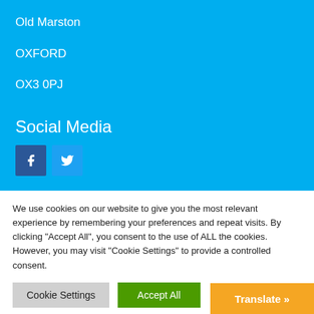Old Marston
OXFORD
OX3 0PJ
Social Media
[Figure (other): Facebook and Twitter social media icons (blue squares with f and bird logos)]
Select Language
Powered by Google Translate
We use cookies on our website to give you the most relevant experience by remembering your preferences and repeat visits. By clicking "Accept All", you consent to the use of ALL the cookies. However, you may visit "Cookie Settings" to provide a controlled consent.
Cookie Settings
Accept All
Translate »